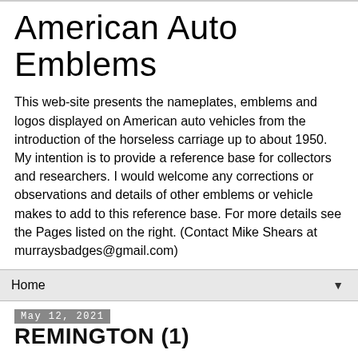American Auto Emblems
This web-site presents the nameplates, emblems and logos displayed on American auto vehicles from the introduction of the horseless carriage up to about 1950. My intention is to provide a reference base for collectors and researchers. I would welcome any corrections or observations and details of other emblems or vehicle makes to add to this reference base. For more details see the Pages listed on the right. (Contact Mike Shears at murraysbadges@gmail.com)
Home
May 12, 2021
REMINGTON (1)
Remington Automobile & Motor Company
Illion, New York (1900-1901)
Utica, New York (1901-1903)